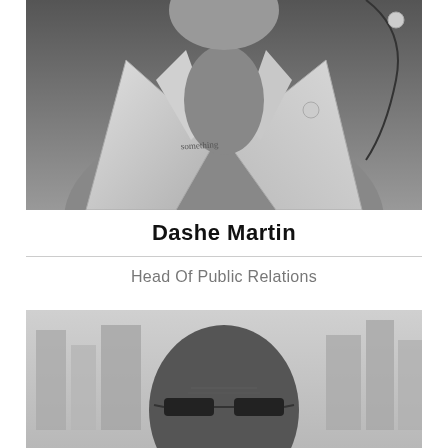[Figure (photo): Black and white portrait photo of a woman in a blazer with earphones, chest tattoo visible]
Dashe Martin
Head Of Public Relations
[Figure (photo): Portrait photo of a man with sunglasses against an urban city skyline background]